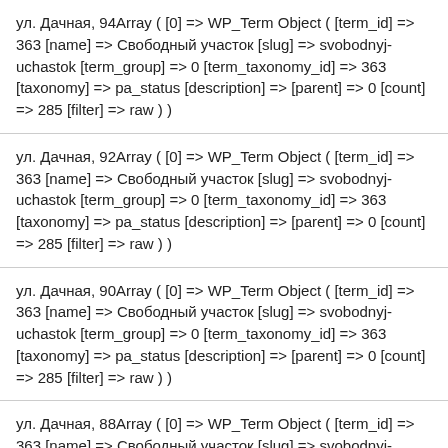ул. Дачная, 94Array ( [0] => WP_Term Object ( [term_id] => 363 [name] => Свободный участок [slug] => svobodnyj-uchastok [term_group] => 0 [term_taxonomy_id] => 363 [taxonomy] => pa_status [description] => [parent] => 0 [count] => 285 [filter] => raw ) )
ул. Дачная, 92Array ( [0] => WP_Term Object ( [term_id] => 363 [name] => Свободный участок [slug] => svobodnyj-uchastok [term_group] => 0 [term_taxonomy_id] => 363 [taxonomy] => pa_status [description] => [parent] => 0 [count] => 285 [filter] => raw ) )
ул. Дачная, 90Array ( [0] => WP_Term Object ( [term_id] => 363 [name] => Свободный участок [slug] => svobodnyj-uchastok [term_group] => 0 [term_taxonomy_id] => 363 [taxonomy] => pa_status [description] => [parent] => 0 [count] => 285 [filter] => raw ) )
ул. Дачная, 88Array ( [0] => WP_Term Object ( [term_id] => 363 [name] => Свободный участок [slug] => svobodnyj-uchastok [term_group] => 0 [term_taxonomy_id] => 363 [taxonomy] => pa_status [description] => [parent] => 0 [count] => 285 [filter]